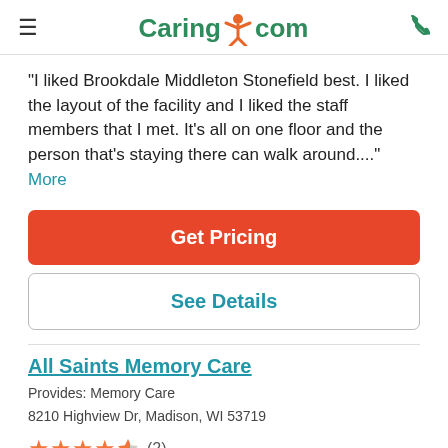Caring.com
"I liked Brookdale Middleton Stonefield best. I liked the layout of the facility and I liked the staff members that I met. It's all on one floor and the person that's staying there can walk around...." More
Get Pricing
See Details
All Saints Memory Care
Provides: Memory Care
8210 Highview Dr, Madison, WI 53719
★★★★½ (2)